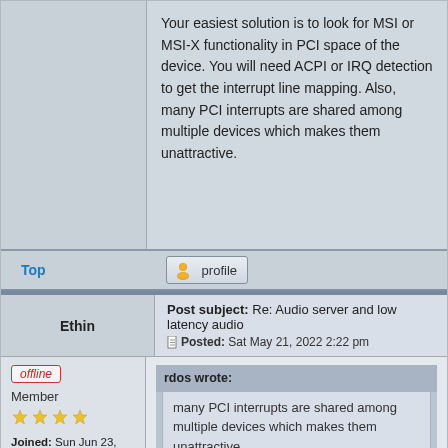Your easiest solution is to look for MSI or MSI-X functionality in PCI space of the device. You will need ACPI or IRQ detection to get the interrupt line mapping. Also, many PCI interrupts are shared among multiple devices which makes them unattractive.
Top
profile
Ethin
Post subject: Re: Audio server and low latency audio
Posted: Sat May 21, 2022 2:22 pm
offline
Member
Joined: Sun Jun 23, 2019 5:36 pm
Posts: 600
Location: North Dakota, United States
rdos wrote:
many PCI interrupts are shared among multiple devices which makes them unattractive.
Your always going to have interrupt sharing, regardless of what method